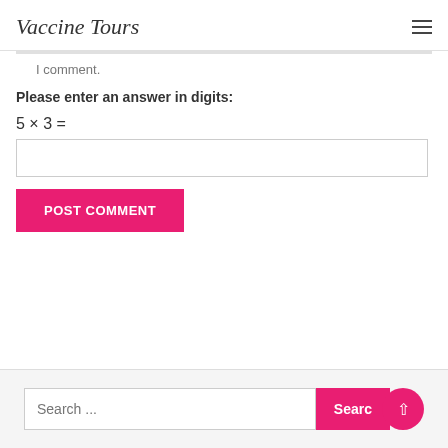Vaccine Tours
I comment.
Please enter an answer in digits:
POST COMMENT
Search ...